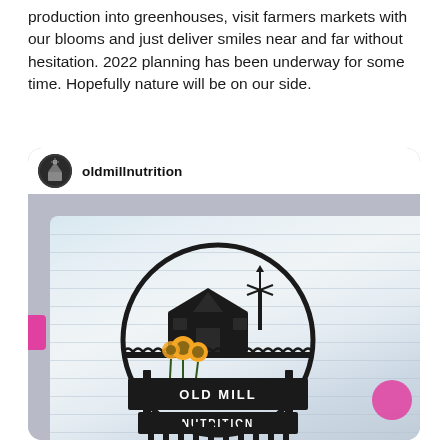production into greenhouses, visit farmers markets with our blooms and just deliver smiles near and far without hesitation.  2022 planning has been underway for some time. Hopefully nature will be on our side.
[Figure (photo): Instagram post from @oldmillnutrition showing a decorative metal sign of a farm/mill silhouette with a windmill, barn, sunflowers, and text 'Old Mill Nutrition', mounted against a whitewashed wood plank background with pink heart decorations.]